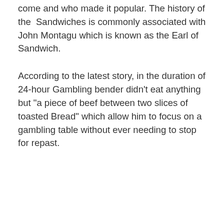come and who made it popular. The history of the Sandwiches is commonly associated with John Montagu which is known as the Earl of Sandwich.
According to the latest story, in the duration of 24-hour Gambling bender didn’t eat anything but “a piece of beef between two slices of toasted Bread” which allow him to focus on a gambling table without ever needing to stop for repast.